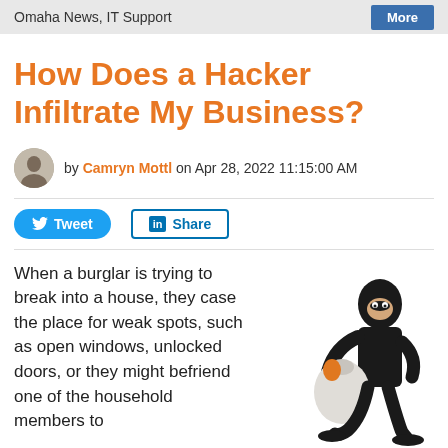Omaha News, IT Support | More
How Does a Hacker Infiltrate My Business?
by Camryn Mottl on Apr 28, 2022 11:15:00 AM
Tweet  Share
When a burglar is trying to break into a house, they case the place for weak spots, such as open windows, unlocked doors, or they might befriend one of the household members to